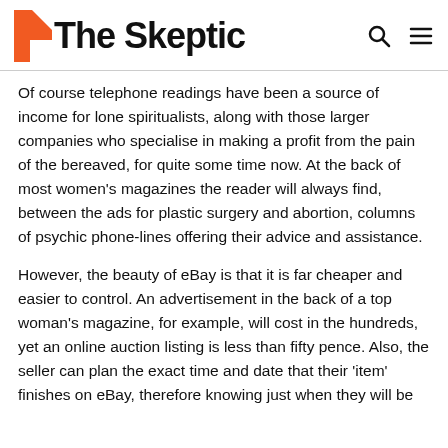The Skeptic
Of course telephone readings have been a source of income for lone spiritualists, along with those larger companies who specialise in making a profit from the pain of the bereaved, for quite some time now. At the back of most women's magazines the reader will always find, between the ads for plastic surgery and abortion, columns of psychic phone-lines offering their advice and assistance.
However, the beauty of eBay is that it is far cheaper and easier to control. An advertisement in the back of a top woman's magazine, for example, will cost in the hundreds, yet an online auction listing is less than fifty pence. Also, the seller can plan the exact time and date that their 'item' finishes on eBay, therefore knowing just when they will be